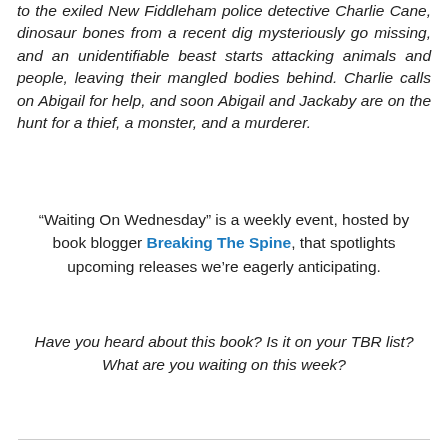to the exiled New Fiddleham police detective Charlie Cane, dinosaur bones from a recent dig mysteriously go missing, and an unidentifiable beast starts attacking animals and people, leaving their mangled bodies behind. Charlie calls on Abigail for help, and soon Abigail and Jackaby are on the hunt for a thief, a monster, and a murderer.
“Waiting On Wednesday” is a weekly event, hosted by book blogger Breaking The Spine, that spotlights upcoming releases we’re eagerly anticipating.
Have you heard about this book? Is it on your TBR list? What are you waiting on this week?